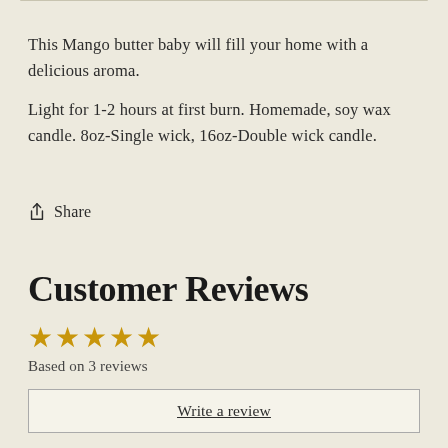This Mango butter baby will fill your home with a delicious aroma.
Light for 1-2 hours at first burn. Homemade, soy wax candle. 8oz-Single wick, 16oz-Double wick candle.
Share
Customer Reviews
Based on 3 reviews
Write a review